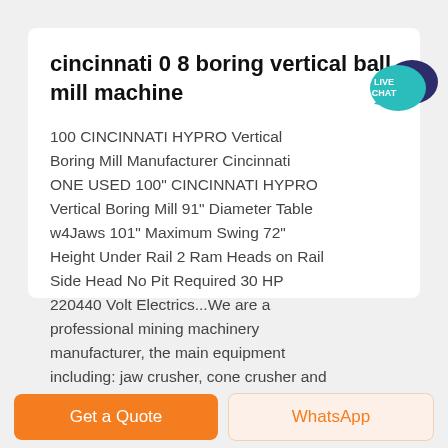cincinnati 0 8 boring vertical ball mill machine
100 CINCINNATI HYPRO Vertical Boring Mill Manufacturer Cincinnati ONE USED 100" CINCINNATI HYPRO Vertical Boring Mill 91" Diameter Table w4Jaws 101" Maximum Swing 72" Height Under Rail 2 Ram Heads on Rail Side Head No Pit Required 30 HP 220440 Volt Electrics...We are a professional mining machinery manufacturer, the main equipment including: jaw crusher, cone crusher and other ...
[Figure (other): Live Chat speech bubble icon in teal/dark blue]
[Figure (photo): Partial photo of machinery at bottom of card]
Get a Quote
WhatsApp